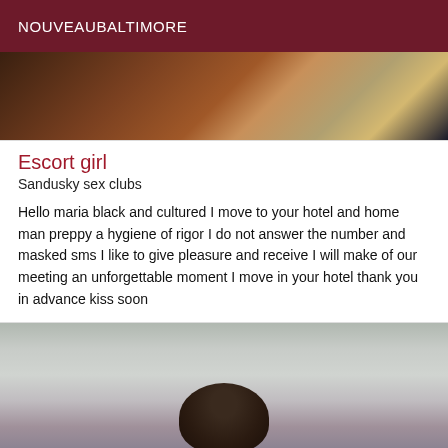NOUVEAUBALTIMORE
[Figure (photo): Cropped photo showing partial view of a person, warm tones with orange and tan colors]
Escort girl
Sandusky sex clubs
Hello maria black and cultured I move to your hotel and home man preppy a hygiene of rigor I do not answer the number and masked sms I like to give pleasure and receive I will make of our meeting an unforgettable moment I move in your hotel thank you in advance kiss soon
[Figure (photo): Photo of a person with dark hair against a light gray/green background, cropped at lower portion of image]